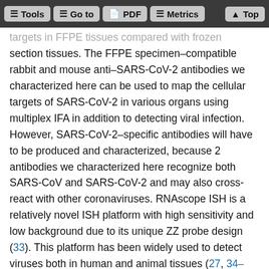Tools | Go to | PDF | Metrics | Top
targets in FFPE tissues compared with frozen section tissues. The FFPE specimen–compatible rabbit and mouse anti–SARS-CoV-2 antibodies we characterized here can be used to map the cellular targets of SARS-CoV-2 in various organs using multiplex IFA in addition to detecting viral infection. However, SARS-CoV-2–specific antibodies will have to be produced and characterized, because 2 antibodies we characterized here recognize both SARS-CoV and SARS-CoV-2 and may also cross-react with other coronaviruses. RNAscope ISH is a relatively novel ISH platform with high sensitivity and low background due to its unique ZZ probe design (33). This platform has been widely used to detect viruses both in human and animal tissues (27, 34–36). Single-stranded RNA viruses have to produce a replicative intermediate, antigenomic RNA, as a